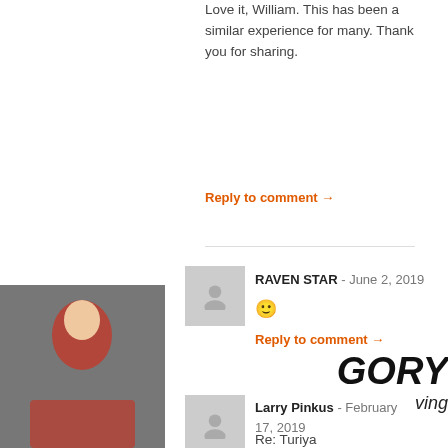Love it, William. This has been a similar experience for many. Thank you for sharing.
Reply to comment →
RAVEN STAR - June 2, 2019
🙂
Reply to comment →
[Figure (photo): Person photo on left side]
Larry Pinkus - February 17, 2019
Re: Turiya
James Swartz says you are wrong about Turiya and that the 4th state of Turiya was